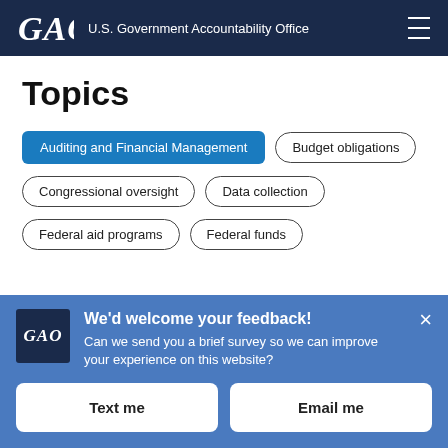GAO — U.S. Government Accountability Office
Topics
Auditing and Financial Management
Budget obligations
Congressional oversight
Data collection
Federal aid programs
Federal funds
We'd welcome your feedback! Can we send you a brief survey so we can improve your experience on this website?
Text me
Email me